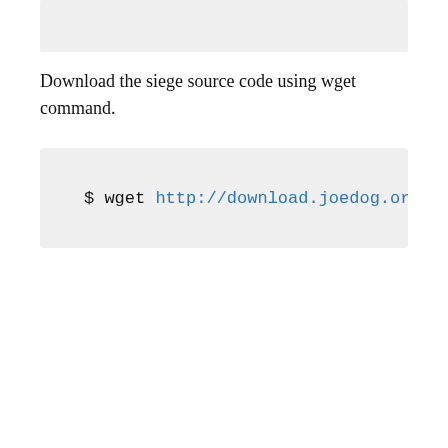Download the siege source code using wget command.
$ wget http://download.joedog.org/siege